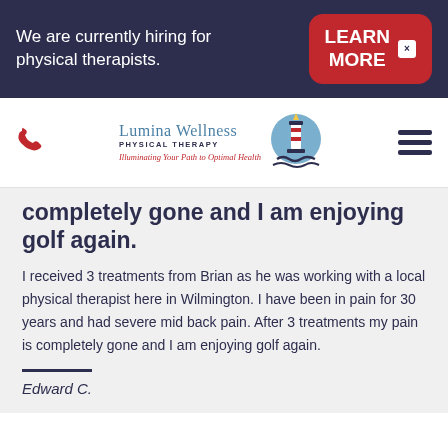We are currently hiring for physical therapists.
[Figure (logo): Lumina Wellness Physical Therapy logo with lighthouse graphic and tagline 'Illuminating Your Path to Optimal Health']
completely gone and I am enjoying golf again.
I received 3 treatments from Brian as he was working with a local physical therapist here in Wilmington. I have been in pain for 30 years and had severe mid back pain. After 3 treatments my pain is completely gone and I am enjoying golf again.
Edward C.